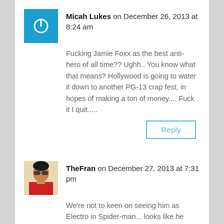Micah Lukes on December 26, 2013 at 8:24 am
Fucking Jamie Foxx as the best anti-hero of all time?? Ughh.. You know what that means? Hollywood is going to water it down to another PG-13 crap fest, in hopes of making a ton of money.... Fuck it I quit.....
Reply
TheFran on December 27, 2013 at 7:31 pm
We're not to keen on seeing him as Electro in Spider-man... looks like he found a passion for superhero villains.
Reply